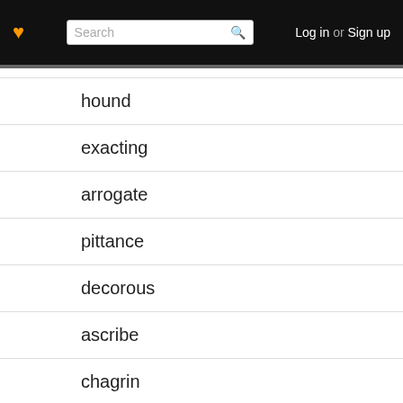Log in or Sign up | Search
hound
exacting
arrogate
pittance
decorous
ascribe
chagrin
catholic